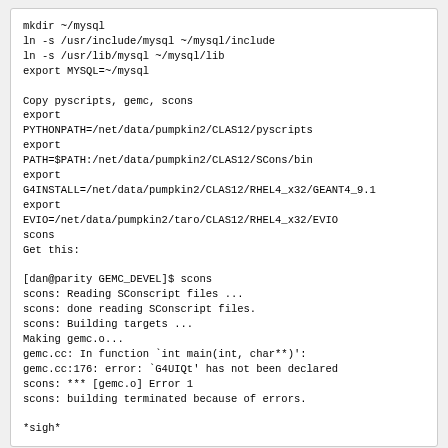mkdir ~/mysql
ln -s /usr/include/mysql ~/mysql/include
ln -s /usr/lib/mysql ~/mysql/lib
export MYSQL=~/mysql

Copy pyscripts, gemc, scons
export
PYTHONPATH=/net/data/pumpkin2/CLAS12/pyscripts
export
PATH=$PATH:/net/data/pumpkin2/CLAS12/SCons/bin
export
G4INSTALL=/net/data/pumpkin2/CLAS12/RHEL4_x32/GEANT4_9.1
export
EVIO=/net/data/pumpkin2/taro/CLAS12/RHEL4_x32/EVIO
scons
Get this:

[dan@parity GEMC_DEVEL]$ scons
scons: Reading SConscript files ...
scons: done reading SConscript files.
scons: Building targets ...
Making gemc.o...
gemc.cc: In function `int main(int, char**)':
gemc.cc:176: error: `G4UIQt' has not been declared
scons: *** [gemc.o] Error 1
scons: building terminated because of errors.

*sigh*
Sunday 03